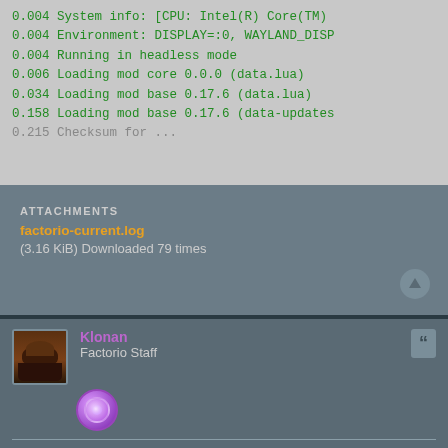[Figure (screenshot): Terminal/log output showing Factorio game log lines with green monospace text on gray background]
ATTACHMENTS
factorio-current.log
(3.16 KiB) Downloaded 79 times
Klonan
Factorio Staff
Re: [Klonan] [0.17.7] Crash on load save: "Surface names must not be blank and must be unique."
Thu Mar 07, 2019 10:11 am
Thanks for the report and the save game,
It is fixed for the next release.